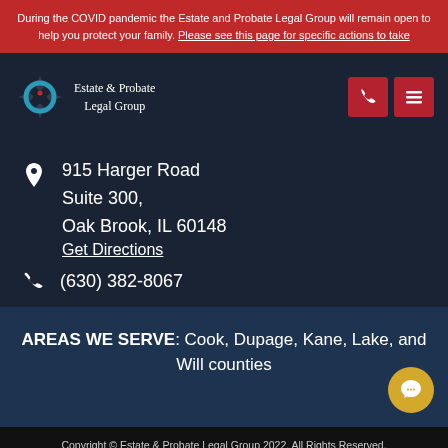During the COVID pandemic the Estate and Probate Legal Group will remain open to help you protect your family. Please see this page for specific actions to take
[Figure (logo): Estate & Probate Legal Group logo with circular icon and company name]
915 Harger Road Suite 300, Oak Brook, IL 60148 Get Directions
(630) 382-8067
AREAS WE SERVE: Cook, Dupage, Kane, Lake, and Will counties
Copyright © Estate & Probate Legal Group 2022. All Rights Reserved. Privacy Policy | Disclaimer